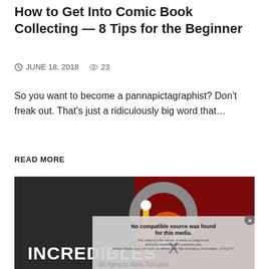How to Get Into Comic Book Collecting — 8 Tips for the Beginner
🕐 JUNE 18, 2018   👁 23
So you want to become a pannapictagraphist? Don't freak out. That's just a ridiculously big word that...
READ MORE
[Figure (screenshot): Video thumbnail showing the Incredibles logo on a dark background split between dark grey and dark red. An overlay panel reads 'No compatible source was found for this media.' with small text about the video being a fan tribute and rights belonging to Akira Torisawa. A large X dismiss button is visible.]